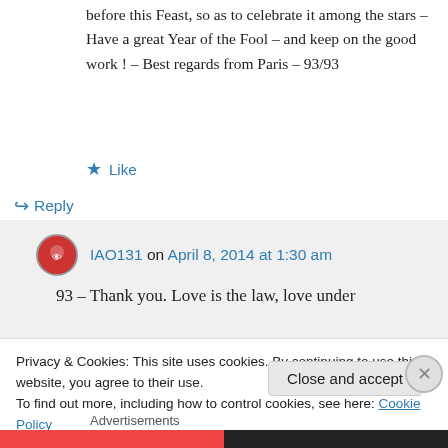before this Feast, so as to celebrate it among the stars – Have a great Year of the Fool – and keep on the good work ! – Best regards from Paris – 93/93
★ Like
↪ Reply
IAO131 on April 8, 2014 at 1:30 am
93 – Thank you. Love is the law, love under
Privacy & Cookies: This site uses cookies. By continuing to use this website, you agree to their use.
To find out more, including how to control cookies, see here: Cookie Policy
Close and accept
Advertisements